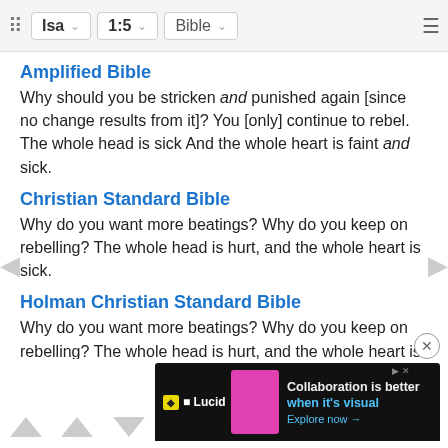Isa 1:5 Bible
Amplified Bible
Why should you be stricken and punished again [since no change results from it]? You [only] continue to rebel. The whole head is sick And the whole heart is faint and sick.
Christian Standard Bible
Why do you want more beatings? Why do you keep on rebelling? The whole head is hurt, and the whole heart is sick.
Holman Christian Standard Bible
Why do you want more beatings? Why do you keep on rebelling? The whole head is hurt, and the whole heart is sick.
American Standard Version
Why... and more... heart